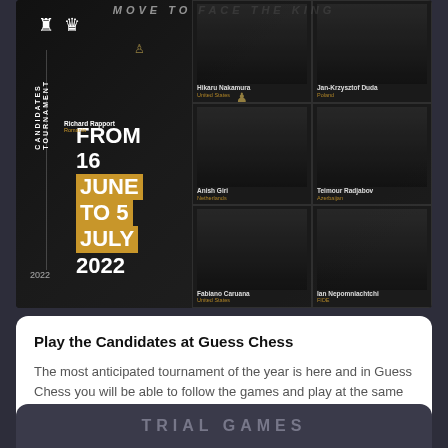[Figure (photo): Chess Candidates Tournament 2022 promotional poster. Dark background with multiple chess player portraits arranged in a grid on the right side. Left side shows chess piece icons, vertical text reading 'CANDIDATES TOURNAMENT', a vertical dotted line with '2022' at the bottom. Center-left shows large text 'FROM 16 JUNE TO 5 JULY 2022' with a gold/orange diagonal accent shape. Players visible include Hikaru Nakamura, Jan-Krzysztof Duda, Richard Rapport, Teimour Radjabov, Fabiano Caruana, Ian Nepomniachtchi and others.]
Play the Candidates at Guess Chess
The most anticipated tournament of the year is here and in Guess Chess you will be able to follow the games and play at the same time in our move prediction competitions, all f…